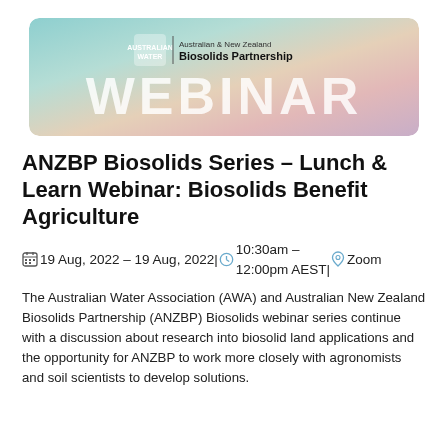[Figure (illustration): ANZBP Webinar banner with gradient pastel background (teal to peach to mauve). Shows Australian Water Association logo, Australian & New Zealand Biosolids Partnership text, and large white 'WEBINAR' heading.]
ANZBP Biosolids Series – Lunch & Learn Webinar: Biosolids Benefit Agriculture
19 Aug, 2022 – 19 Aug, 2022 | 10:30am – 12:00pm AEST | Zoom
The Australian Water Association (AWA) and Australian New Zealand Biosolids Partnership (ANZBP) Biosolids webinar series continue with a discussion about research into biosolid land applications and the opportunity for ANZBP to work more closely with agronomists and soil scientists to develop solutions.